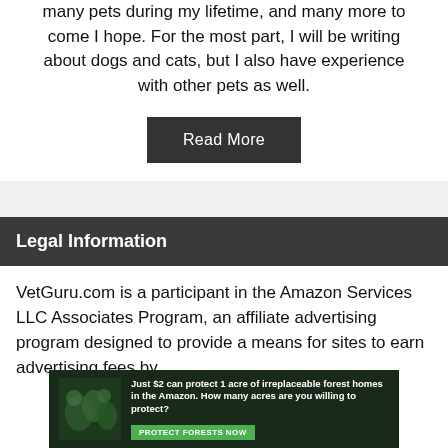many pets during my lifetime, and many more to come I hope. For the most part, I will be writing about dogs and cats, but I also have experience with other pets as well.
Read More
Legal Information
VetGuru.com is a participant in the Amazon Services LLC Associates Program, an affiliate advertising program designed to provide a means for sites to earn advertising fees by
[Figure (infographic): Advertisement banner: dark green background with forest/leaf imagery. Text reads 'Just $2 can protect 1 acre of irreplaceable forest homes in the Amazon. How many acres are you willing to protect?' with a green 'PROTECT FORESTS NOW' button.]